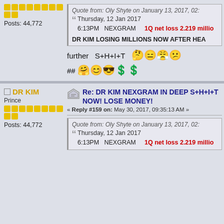Posts: 44,772
Quote from: Oly Shyte on January 13, 2017, 02:
Thursday, 12 Jan 2017
6:13PM  NEXGRAM    1Q net loss 2.219 millio
DR KIM LOSING MILLIONS NOW AFTER HEA
further  S+H+I+T  🤔😑😤😕
##  🤗😊😎💲💲
Re: DR KIM NEXGRAM IN DEEP S+H+I+T NOW! LOSE MONEY!
« Reply #159 on: May 30, 2017, 09:35:13 AM »
DR KIM
Prince
Posts: 44,772
Quote from: Oly Shyte on January 13, 2017, 02:
Thursday, 12 Jan 2017
6:13PM  NEXGRAM    1Q net loss 2.219 millio